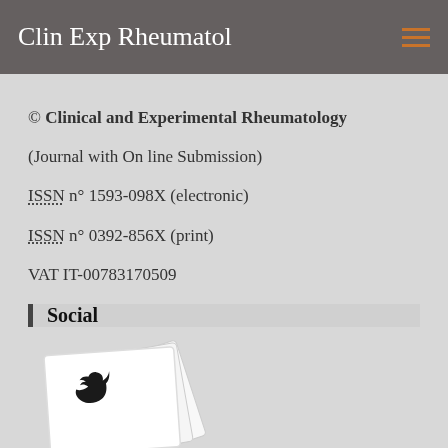Clin Exp Rheumatol
© Clinical and Experimental Rheumatology
(Journal with On line Submission)
ISSN n° 1593-098X (electronic)
ISSN n° 0392-856X (print)
VAT IT-00783170509
Social
[Figure (illustration): A tilted stack of white cards/pages with a Twitter bird logo (black silhouette) on top, photographed at an angle.]